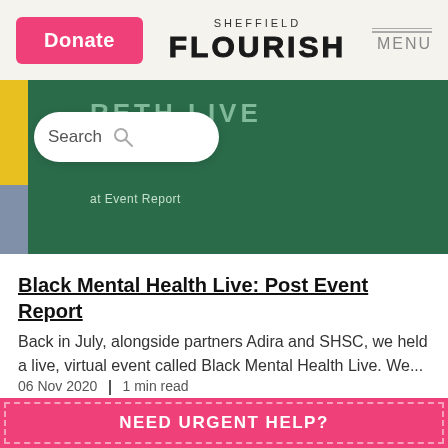Donate | SHEFFIELD FLOURISH | MENU
[Figure (screenshot): Hero image of dark green background with search bar overlay and 'Black Mental Health Live: Post Event Report' text visible]
Black Mental Health Live: Post Event Report
Back in July, alongside partners Adira and SHSC, we held a live, virtual event called Black Mental Health Live. We...
06 Nov 2020 | 1 min read
NEED URGENT HELP?